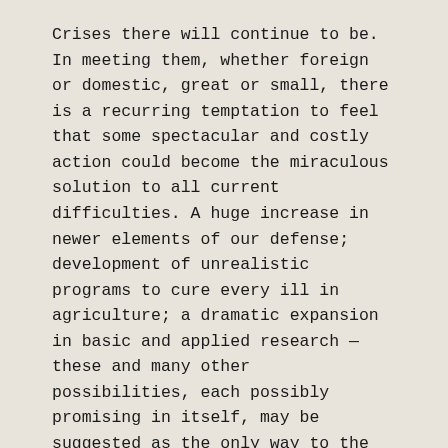Crises there will continue to be. In meeting them, whether foreign or domestic, great or small, there is a recurring temptation to feel that some spectacular and costly action could become the miraculous solution to all current difficulties. A huge increase in newer elements of our defense; development of unrealistic programs to cure every ill in agriculture; a dramatic expansion in basic and applied research — these and many other possibilities, each possibly promising in itself, may be suggested as the only way to the road we wish to travel.
But each proposal must be weighed in the light of a broader consideration: the need to maintain balance in and among national programs — balance between the private and the public economy, balance between cost and hoped for advantage — balance between the clearly necessary and the comfortably desirable; balance between our essential